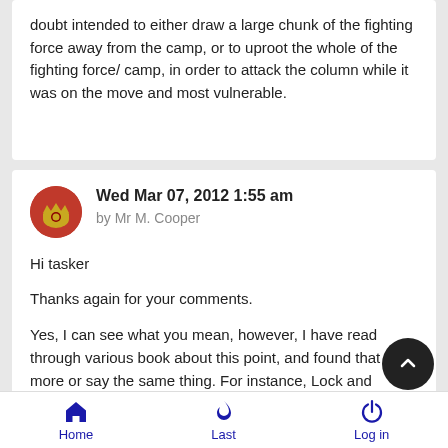doubt intended to either draw a large chunk of the fighting force away from the camp, or to uproot the whole of the fighting force/ camp, in order to attack the column while it was on the move and most vulnerable.
Wed Mar 07, 2012 1:55 am
by Mr M. Cooper
Hi tasker

Thanks again for your comments.

Yes, I can see what you mean, however, I have read through various book about this point, and found that they more or say the same thing. For instance, Lock and Quantrill make much mention of the use of deceptions used by Ntshingwayo, they
Home   Last   Log in